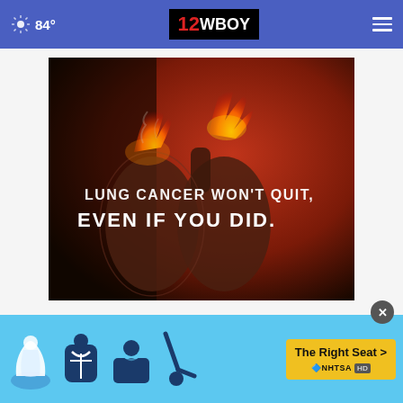84° | 12WBOY
[Figure (photo): Anti-smoking public service image showing lungs on fire with text: 'LUNG CANCER WON'T QUIT, EVEN IF YOU DID.']
[Figure (infographic): NHTSA car seat safety advertisement: 'The Right Seat >' with icons of car seats and children. Branding: NHTSA.]